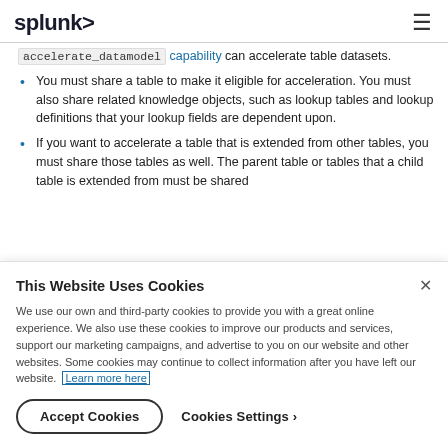splunk> ≡
accelerate_datamodel capability can accelerate table datasets.
You must share a table to make it eligible for acceleration. You must also share related knowledge objects, such as lookup tables and lookup definitions that your lookup fields are dependent upon.
If you want to accelerate a table that is extended from other tables, you must share those tables as well. The parent table or tables that a child table is extended from must be shared
This Website Uses Cookies
We use our own and third-party cookies to provide you with a great online experience. We also use these cookies to improve our products and services, support our marketing campaigns, and advertise to you on our website and other websites. Some cookies may continue to collect information after you have left our website. Learn more here
Accept Cookies   Cookies Settings ›